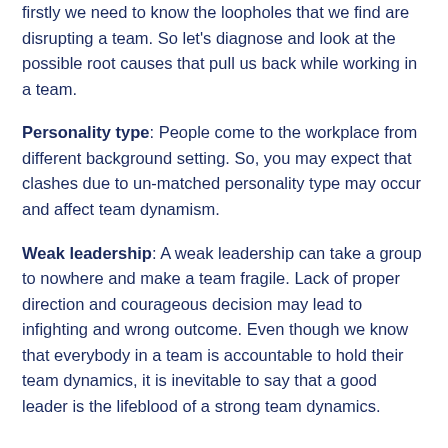firstly we need to know the loopholes that we find are disrupting a team. So let's diagnose and look at the possible root causes that pull us back while working in a team.
Personality type: People come to the workplace from different background setting. So, you may expect that clashes due to un-matched personality type may occur and affect team dynamism.
Weak leadership: A weak leadership can take a group to nowhere and make a team fragile. Lack of proper direction and courageous decision may lead to infighting and wrong outcome. Even though we know that everybody in a team is accountable to hold their team dynamics, it is inevitable to say that a good leader is the lifeblood of a strong team dynamics.